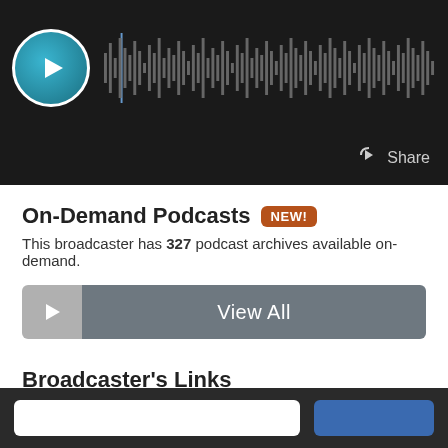[Figure (screenshot): Audio player with play button circle and waveform visualization on dark background]
Share
On-Demand Podcasts NEW!
This broadcaster has 327 podcast archives available on-demand.
[Figure (other): View All button with play icon on left and grey background]
Broadcaster's Links
Keep up-to-date with this broadcaster on social media and their website.
[Figure (other): Social media icons: home, Facebook, Twitter]